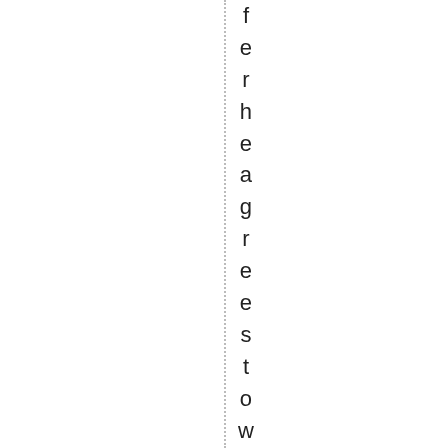f e r h e a g r e e s t o w i t h a n o t h e r c